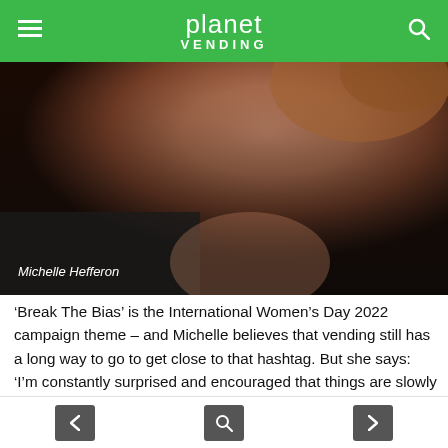planet VENDING
[Figure (photo): Close-up portrait photo of Michelle Hefferon with caption overlay]
‘Break The Bias’ is the International Women’s Day 2022 campaign theme – and Michelle believes that vending still has a long way to go to get close to that hashtag. But she says: ‘I’m constantly surprised and encouraged that things are slowly changing. Women are turning the tide and there are increasingly being recognised for their achievements. Just in NIVO alone, 88% of the hours worked are by women. That’s Karen, Robin and me. We are making major decisions and